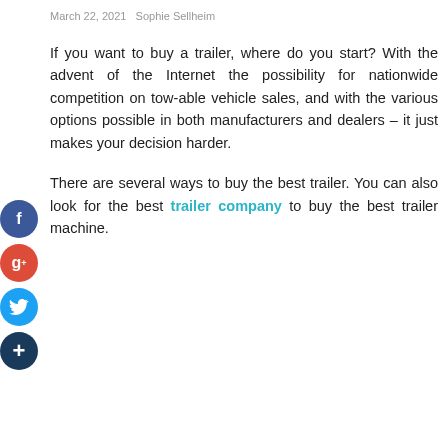March 22, 2021   Sophie Sellheim
If you want to buy a trailer, where do you start? With the advent of the Internet the possibility for nationwide competition on tow-able vehicle sales, and with the various options possible in both manufacturers and dealers – it just makes your decision harder.
There are several ways to buy the best trailer. You can also look for the best trailer company to buy the best trailer machine.
[Figure (infographic): Social media share buttons: Facebook (blue circle), Google+ (red circle), Twitter (light blue circle), More/Plus (dark blue circle), arranged vertically on the left side of the page.]